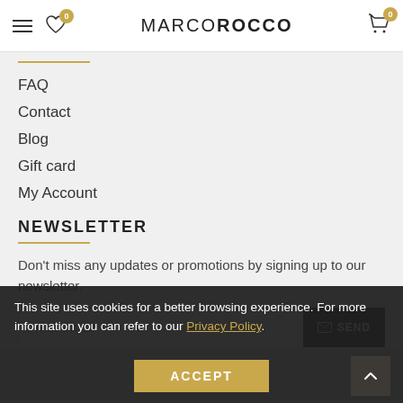MarcoRocco website header with hamburger menu, heart icon (0), logo MARCOROCCO, and cart icon (0)
FAQ
Contact
Blog
Gift card
My Account
NEWSLETTER
Don't miss any updates or promotions by signing up to our newsletter.
Your email | SEND button
I have read and agree to the Privacy Policy
This site uses cookies for a better browsing experience. For more information you can refer to our Privacy Policy.
ACCEPT